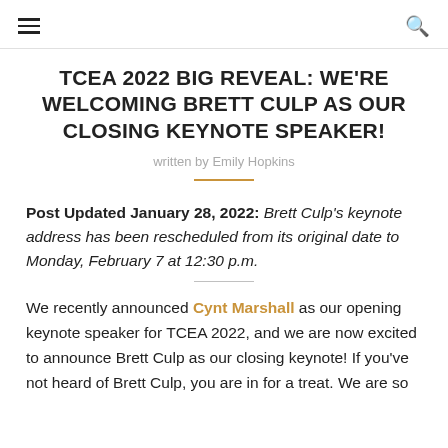☰ [hamburger menu] | 🔍 [search icon]
TCEA 2022 BIG REVEAL: WE'RE WELCOMING BRETT CULP AS OUR CLOSING KEYNOTE SPEAKER!
written by Emily Hopkins
Post Updated January 28, 2022: Brett Culp's keynote address has been rescheduled from its original date to Monday, February 7 at 12:30 p.m.
We recently announced Cynt Marshall as our opening keynote speaker for TCEA 2022, and we are now excited to announce Brett Culp as our closing keynote! If you've not heard of Brett Culp, you are in for a treat. We are so